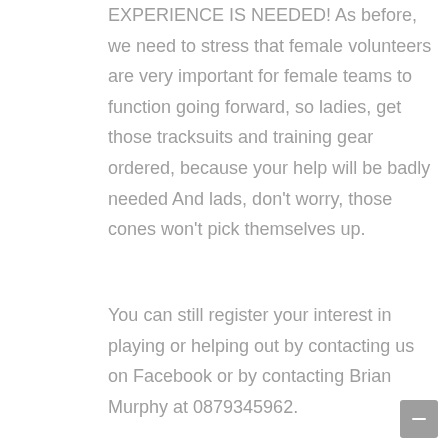EXPERIENCE IS NEEDED! As before, we need to stress that female volunteers are very important for female teams to function going forward, so ladies, get those tracksuits and training gear ordered, because your help will be badly needed And lads, don't worry, those cones won't pick themselves up.
You can still register your interest in playing or helping out by contacting us on Facebook or by contacting Brian Murphy at 0879345962.